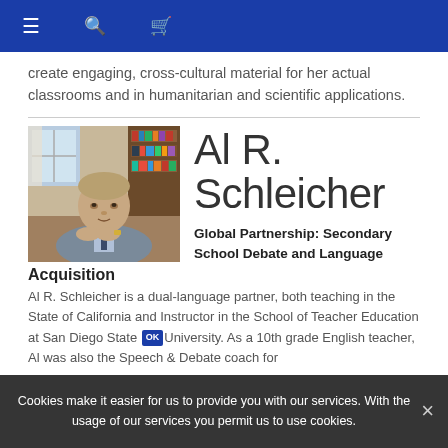Navigation bar with menu, search, and cart icons
create engaging, cross-cultural material for her actual classrooms and in humanitarian and scientific applications.
[Figure (photo): Portrait photo of Al R. Schleicher, a man in a suit sitting at a desk with bookshelves in the background]
Al R. Schleicher
Global Partnership: Secondary School Debate and Language Acquisition
Al R. Schleicher is a dual-language partner, both teaching in the State of California and Instructor in the School of Teacher Education at San Diego State University. As a 10th grade English teacher, Al was also the Speech & Debate coach for